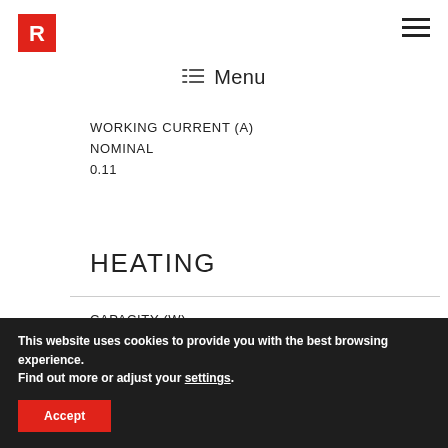[Figure (logo): Red square logo with white stylized R letter]
[Figure (other): Hamburger menu icon (three horizontal lines) in top right corner]
≡ Menu
WORKING CURRENT (A)
NOMINAL
0.11
HEATING
CAPACITY (W)
NOMINAL
This website uses cookies to provide you with the best browsing experience.
Find out more or adjust your settings.